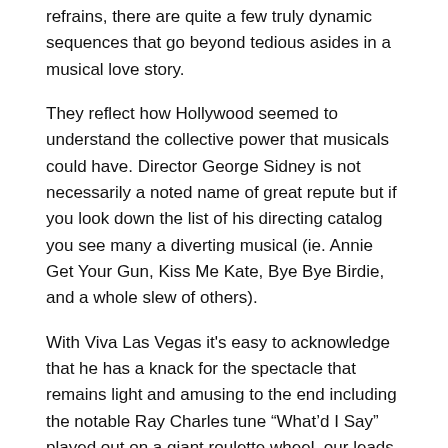refrains, there are quite a few truly dynamic sequences that go beyond tedious asides in a musical love story.
They reflect how Hollywood seemed to understand the collective power that musicals could have. Director George Sidney is not necessarily a noted name of great repute but if you look down the list of his directing catalog you see many a diverting musical (ie. Annie Get Your Gun, Kiss Me Kate, Bye Bye Birdie, and a whole slew of others).
With Viva Las Vegas it's easy to acknowledge that he has a knack for the spectacle that remains light and amusing to the end including the notable Ray Charles tune “What'd I Say” played out on a giant roulette wheel, our leads making eyes at each other, surrounded by a crowd of fellow shimmy and shakers. But also the hip swinging, finger-snapping crowd pleaser “C’mon Everybody” that puts our stars on full display. They even end up making the smaller trifles like “The Lady Loves Me” and “If You Think I Don’t Need You” more than a complete drag.